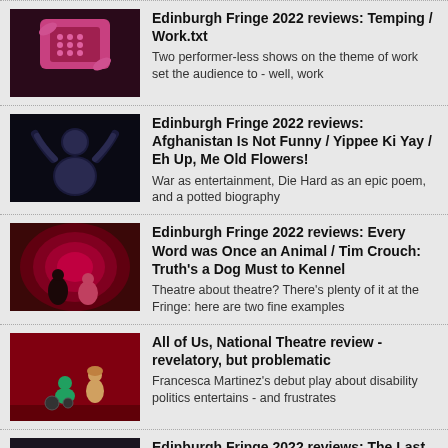Edinburgh Fringe 2022 reviews: Temping / Work.txt
Two performer-less shows on the theme of work set the audience to - well, work
Edinburgh Fringe 2022 reviews: Afghanistan Is Not Funny / Yippee Ki Yay / Eh Up, Me Old Flowers!
War as entertainment, Die Hard as an epic poem, and a potted biography
Edinburgh Fringe 2022 reviews: Every Word was Once an Animal / Tim Crouch: Truth's a Dog Must to Kennel
Theatre about theatre? There's plenty of it at the Fringe: here are two fine examples
All of Us, National Theatre review - revelatory, but problematic
Francesca Martinez's debut play about disability politics entertains - and frustrates
Edinburgh Fringe 2022 reviews: The Last Return / Psychodrama / Exodus
Three shows at the Traverse take in gritty realism and no-holds-barred farce